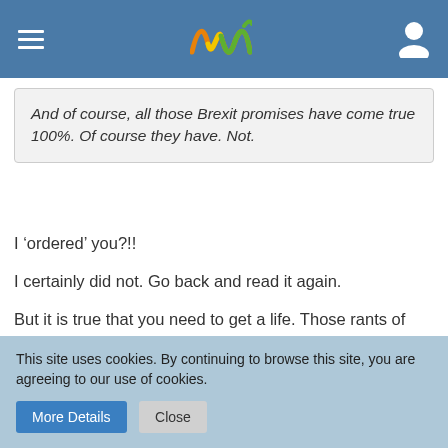Navigation header with logo
And of course, all those Brexit promises have come true 100%. Of course they have. Not.
I ‘ordered’ you?!!
I certainly did not. Go back and read it again.
But it is true that you need to get a life. Those rants of yours smack of desperation. I simply argued that we needed sensible discussions on this forum, not monotonous angry ranting.
Of course Brexit promises haven’t come to fruition, we only left the EU a couple of weeks ago! We’re still living through that short period of transition disruption that we have been warned
This site uses cookies. By continuing to browse this site, you are agreeing to our use of cookies.